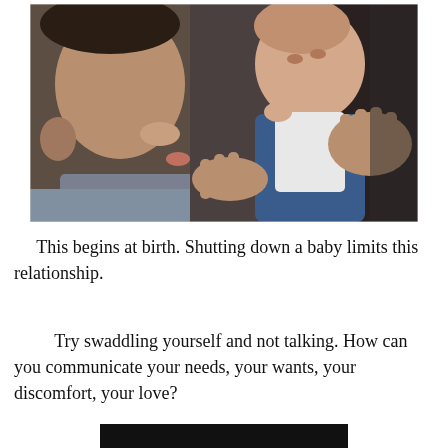[Figure (photo): A man holding a newborn baby up to his face, appearing to kiss or nuzzle the infant. The baby is wearing a blue outfit. Black and white / slightly faded color photograph.]
This begins at birth. Shutting down a baby limits this relationship.
Try swaddling yourself and not talking. How can you communicate your needs, your wants, your discomfort, your love?